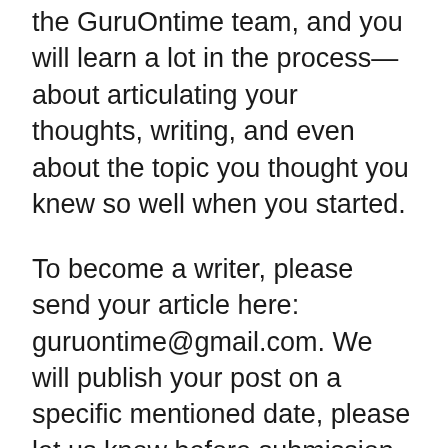the GuruOntime team, and you will learn a lot in the process—about articulating your thoughts, writing, and even about the topic you thought you knew so well when you started.
To become a writer, please send your article here: guruontime@gmail.com. We will publish your post on a specific mentioned date, please let us know before submission.